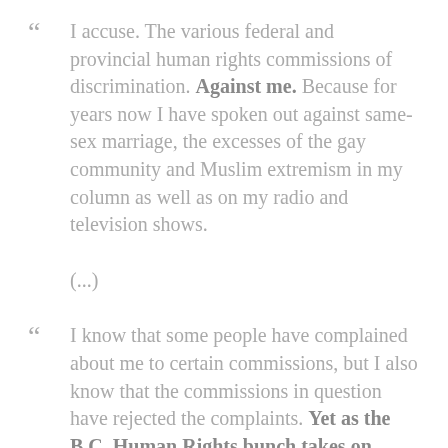“ I accuse. The various federal and provincial human rights commissions of discrimination. Against me. Because for years now I have spoken out against same-sex marriage, the excesses of the gay community and Muslim extremism in my column as well as on my radio and television shows.
(...)
“ I know that some people have complained about me to certain commissions, but I also know that the commissions in question have rejected the complaints. Yet as the B.C. Human Rights bunch takes on Maclean’s magazine I am ignored. Why? It can only be because I am a Roman Catholic, half-Jewish,